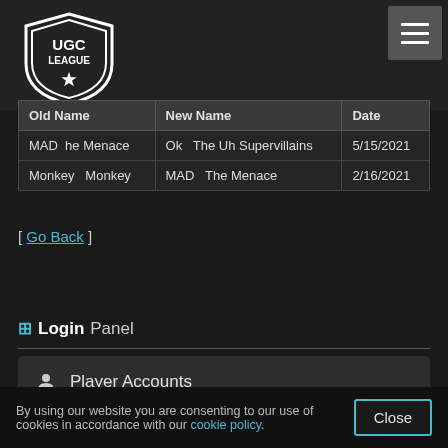UGC League
| Old Name | New Name | Date |
| --- | --- | --- |
| MAD The Menace | Ok The Uh Supervillains | 5/15/2021 |
| Monkey Monkey | MAD The Menace | 2/16/2021 |
[ Go Back ]
Login Panel
Player Accounts
Steam Login for TF2
By using our website you are consenting to our use of cookies in accordance with our cookie policy.